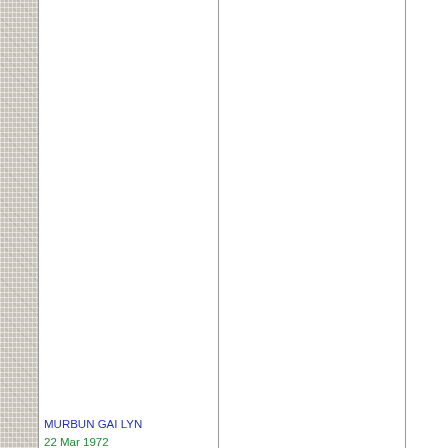[Figure (other): Textured grey strip on the left side of the page, resembling a security or decorative border pattern.]
MURBUN GAI LYN
22 Mar 1972
ANKCN218535 Red (F)
Aust
08 J
ANK